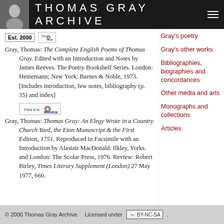THOMAS GRAY ARCHIVE
Gray, Thomas: The Complete English Poems of Thomas Gray. Edited with an Introduction and Notes by James Reeves. The Poetry Bookshelf Series. London: Heinemann; New York: Barnes & Noble, 1973. [Includes introduction, few notes, bibliography (p. 35) and index]
Gray, Thomas: Thomas Gray: An Elegy Wrote in a Country Church Yard, the Eton Manuscript & the First Edition, 1751. Reproduced in Facsimile with an Introduction by Alastair MacDonald. Ilkley, Yorks. and London: The Scolar Press, 1976. Review: Robert Birley, Times Literary Supplement (London) 27 May 1977, 660.
Gray's poetry
Gray's other works
Bibliographies, biographies and concordances
Other media and arts
Monographs and collections
Articles
© 2000 Thomas Gray Archive.    Licensed under   CC BY-NC-SA.